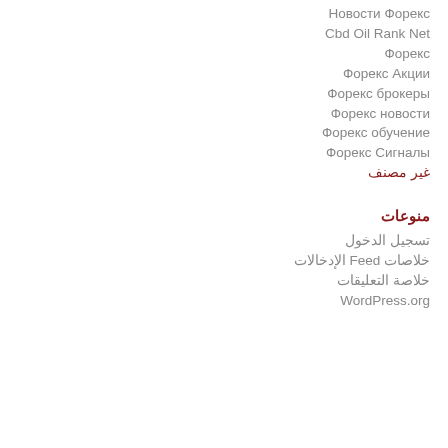Новости Форекс
Cbd Oil Rank Net
Форекс
Форекс Акции
Форекс брокеры
Форекс новости
Форекс обучение
Форекс Сигналы
غير مصنف
منوعات
تسجيل الدخول
خلاصات Feed الإدخالات
خلاصة التعليقات
WordPress.org